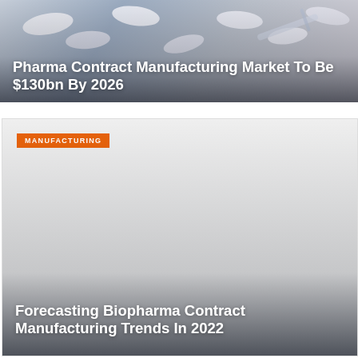[Figure (photo): Photo of pharmaceutical pills and a syringe on a surface, with a dark gradient overlay at the bottom containing article title text.]
Pharma Contract Manufacturing Market To Be $130bn By 2026
[Figure (photo): Light gray placeholder image for a biopharma manufacturing article, with an orange MANUFACTURING tag badge at top left and dark gradient overlay at bottom with article title.]
MANUFACTURING
Forecasting Biopharma Contract Manufacturing Trends In 2022